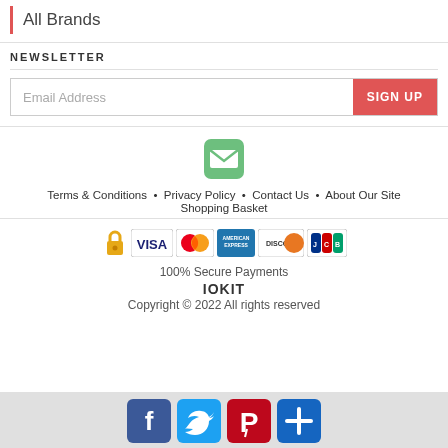All Brands
NEWSLETTER
Email Address
SIGN UP
[Figure (illustration): Green envelope/mail icon]
Terms & Conditions   Privacy Policy   Contact Us   About Our Site   Shopping Basket
[Figure (illustration): Payment method icons: lock, VISA, MasterCard, American Express, Discover, JCB]
100% Secure Payments
IOKIT
Copyright © 2022  All rights reserved
[Figure (illustration): Social media buttons: Facebook, Twitter, Pinterest, Plus/Share]